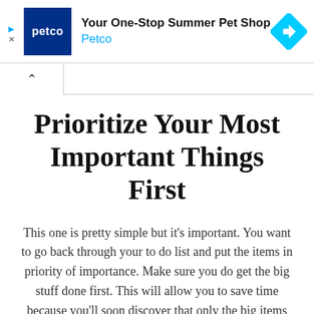[Figure (screenshot): Petco advertisement banner with logo, text 'Your One-Stop Summer Pet Shop' and 'Petco', and a blue diamond navigation icon on the right.]
^
Prioritize Your Most Important Things First
This one is pretty simple but it's important. You want to go back through your to do list and put the items in priority of importance. Make sure you do get the big stuff done first. This will allow you to save time because you'll soon discover that only the big items really matter that much as far as